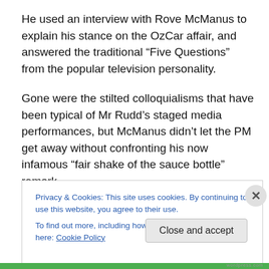He used an interview with Rove McManus to explain his stance on the OzCar affair, and answered the traditional “Five Questions” from the popular television personality.
Gone were the stilted colloquialisms that have been typical of Mr Rudd’s staged media performances, but McManus didn’t let the PM get away without confronting his now infamous “fair shake of the sauce bottle” remark.
Privacy & Cookies: This site uses cookies. By continuing to use this website, you agree to their use.
To find out more, including how to control cookies, see here: Cookie Policy